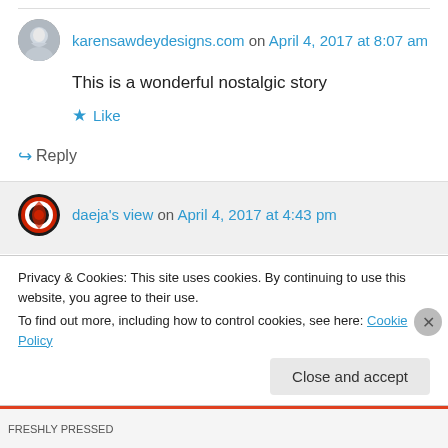karensawdeydesigns.com on April 4, 2017 at 8:07 am
This is a wonderful nostalgic story
Like
Reply
daeja's view on April 4, 2017 at 4:43 pm
Privacy & Cookies: This site uses cookies. By continuing to use this website, you agree to their use. To find out more, including how to control cookies, see here: Cookie Policy
Close and accept